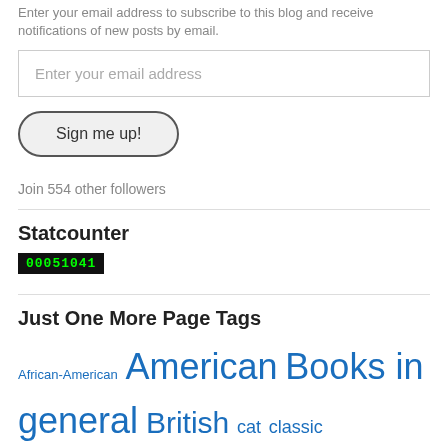Enter your email address to subscribe to this blog and receive notifications of new posts by email.
[Figure (other): Email address input field with placeholder text 'Enter your email address']
[Figure (other): Button labeled 'Sign me up!' with rounded pill shape]
Join 554 other followers
Statcounter
[Figure (other): Black counter badge displaying '00051041' in green monospace text]
Just One More Page Tags
African-American American Books in general British cat classic cowboy domestic